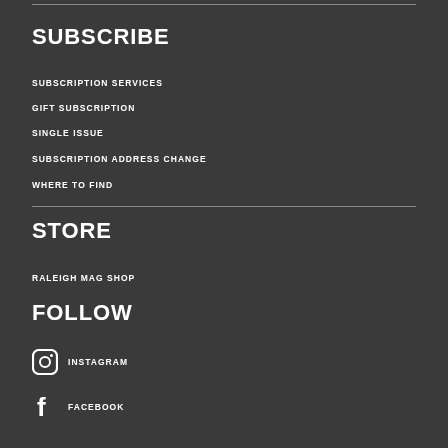SUBSCRIBE
SUBSCRIPTION SERVICES
GIFT SUBSCRIPTION
SINGLE ISSUE
SUBSCRIPTION ADDRESS CHANGE
WHERE TO FIND
STORE
RALEIGH MAG SHOP
FOLLOW
INSTAGRAM
FACEBOOK